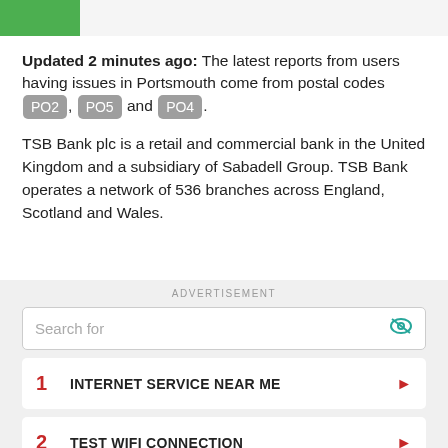Updated 2 minutes ago: The latest reports from users having issues in Portsmouth come from postal codes PO2, PO5 and PO4.
TSB Bank plc is a retail and commercial bank in the United Kingdom and a subsidiary of Sabadell Group. TSB Bank operates a network of 536 branches across England, Scotland and Wales.
ADVERTISEMENT
Search for
1  INTERNET SERVICE NEAR ME
2  TEST WIFI CONNECTION
3  5% INTEREST SAVINGS ACCOUNT